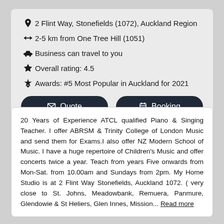2 Flint Way, Stonefields (1072), Auckland Region
2-5 km from One Tree Hill (1051)
Business can travel to you
Overall rating: 4.5
Awards: #5 Most Popular in Auckland for 2021
Quote  Booking  Contact me  Email  www
20 Years of Experience ATCL qualified Piano & Singing Teacher. I offer ABRSM & Trinity College of London Music and send them for Exams.I also offer NZ Modern School of Music. I have a huge repertoire of Children's Music and offer concerts twice a year. Teach from years Five onwards from Mon-Sat. from 10.00am and Sundays from 2pm. My Home Studio is at 2 Flint Way Stonefields, Auckland 1072. ( very close to St. Johns, Meadowbank, Remuera, Panmure, Glendowie & St Heliers, Glen Innes, Mission... Read more